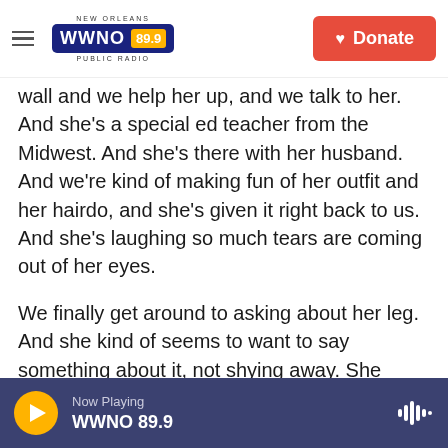WWNO 89.9 NEW ORLEANS PUBLIC RADIO | Donate
wall and we help her up, and we talk to her. And she's a special ed teacher from the Midwest. And she's there with her husband. And we're kind of making fun of her outfit and her hairdo, and she's given it right back to us. And she's laughing so much tears are coming out of her eyes.
We finally get around to asking about her leg. And she kind of seems to want to say something about it, not shying away. She volunteered to come up there. And it turns out she is a conjoined twin who was separated as a child from her sister. So now I'm like wow, this is a really special moment. This
Now Playing WWNO 89.9